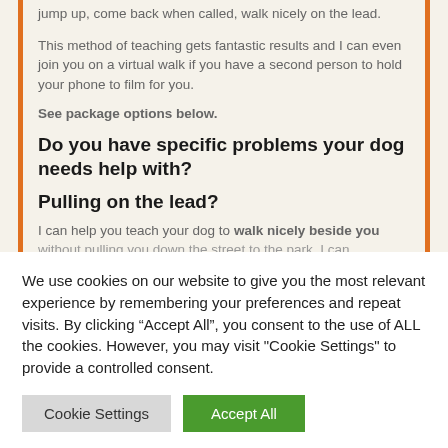jump up, come back when called, walk nicely on the lead.
This method of teaching gets fantastic results and I can even join you on a virtual walk if you have a second person to hold your phone to film for you.
See package options below.
Do you have specific problems your dog needs help with?
Pulling on the lead?
I can help you teach your dog to walk nicely beside you without pulling you down the street to the park. I can
We use cookies on our website to give you the most relevant experience by remembering your preferences and repeat visits. By clicking “Accept All”, you consent to the use of ALL the cookies. However, you may visit "Cookie Settings" to provide a controlled consent.
Cookie Settings
Accept All